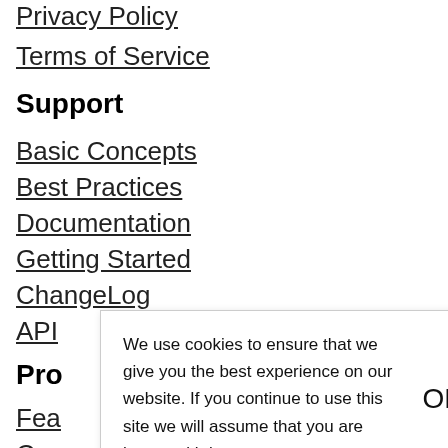Privacy Policy
Terms of Service
Support
Basic Concepts
Best Practices
Documentation
Getting Started
ChangeLog
API
Pro
Fea
Cas
Blog
We use cookies to ensure that we give you the best experience on our website. If you continue to use this site we will assume that you are happy with it.
OK